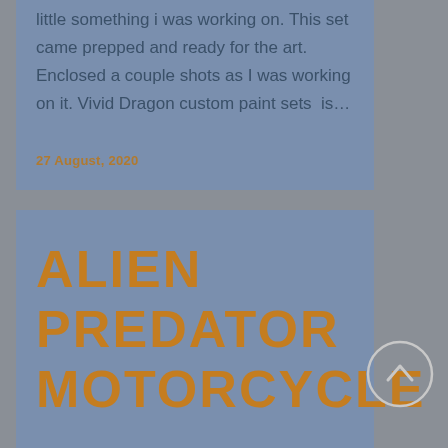little something i was working on. This set came prepped and ready for the art. Enclosed a couple shots as I was working on it. Vivid Dragon custom paint sets  is...
27 August, 2020
ALIEN PREDATOR MOTORCYCLE